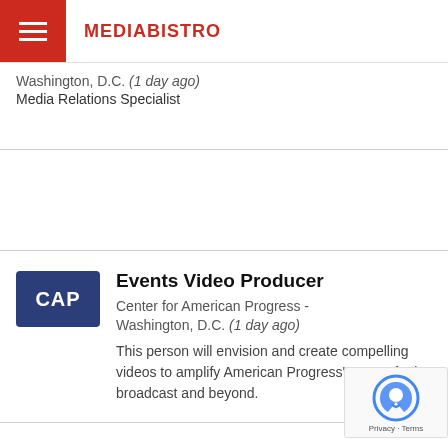MEDIABISTRO
Washington, D.C. (1 day ago)
Media Relations Specialist
Events Video Producer
Center for American Progress - Washington, D.C. (1 day ago)
This person will envision and create compelling videos to amplify American Progress' events for its broadcast and beyond.